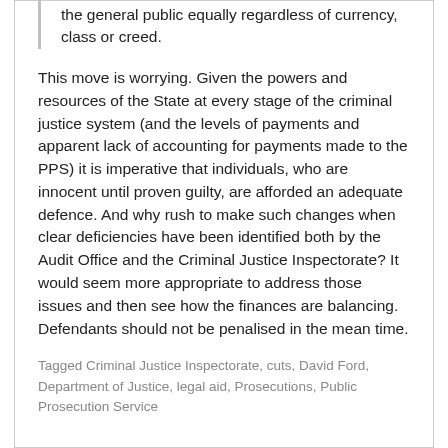the general public equally regardless of currency, class or creed.
This move is worrying. Given the powers and resources of the State at every stage of the criminal justice system (and the levels of payments and apparent lack of accounting for payments made to the PPS) it is imperative that individuals, who are innocent until proven guilty, are afforded an adequate defence. And why rush to make such changes when clear deficiencies have been identified both by the Audit Office and the Criminal Justice Inspectorate? It would seem more appropriate to address those issues and then see how the finances are balancing. Defendants should not be penalised in the mean time.
Tagged Criminal Justice Inspectorate, cuts, David Ford, Department of Justice, legal aid, Prosecutions, Public Prosecution Service